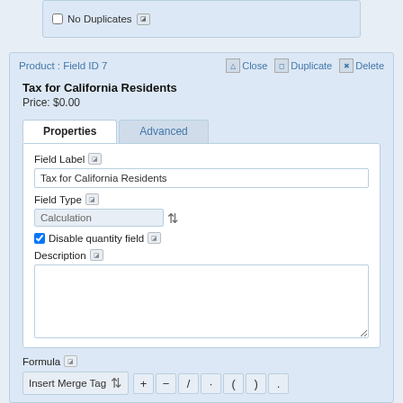[Figure (screenshot): Top panel showing a checkbox labeled 'No Duplicates' with a chat icon]
Product : Field ID 7
Tax for California Residents
Price: $0.00
Properties | Advanced tabs
Field Label
Tax for California Residents
Field Type
Calculation
Disable quantity field
Description
Formula
Insert Merge Tag